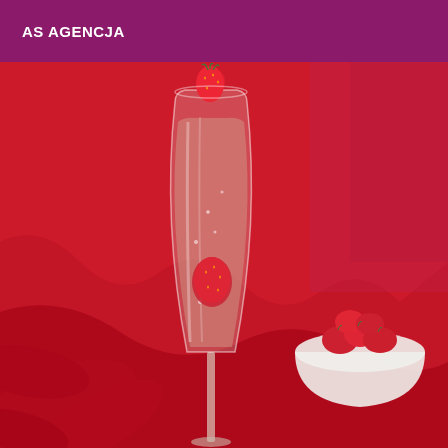AS AGENCJA
[Figure (photo): A champagne flute filled with sparkling wine and strawberries, set against a red rose petal background with a white bowl of strawberries in the background.]